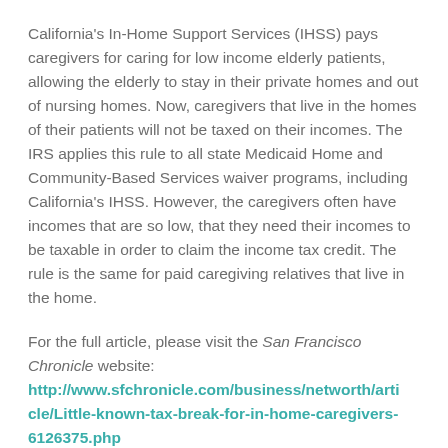California's In-Home Support Services (IHSS) pays caregivers for caring for low income elderly patients, allowing the elderly to stay in their private homes and out of nursing homes. Now, caregivers that live in the homes of their patients will not be taxed on their incomes. The IRS applies this rule to all state Medicaid Home and Community-Based Services waiver programs, including California's IHSS. However, the caregivers often have incomes that are so low, that they need their incomes to be taxable in order to claim the income tax credit. The rule is the same for paid caregiving relatives that live in the home.
For the full article, please visit the San Francisco Chronicle website: http://www.sfchronicle.com/business/networth/article/Little-known-tax-break-for-in-home-caregivers-6126375.php